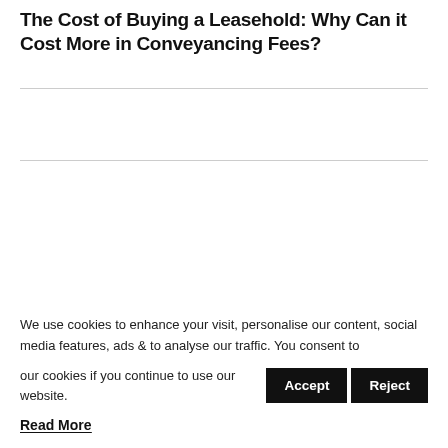The Cost of Buying a Leasehold: Why Can it Cost More in Conveyancing Fees?
We use cookies to enhance your visit, personalise our content, social media features, ads & to analyse our traffic. You consent to our cookies if you continue to use our website.
Read More